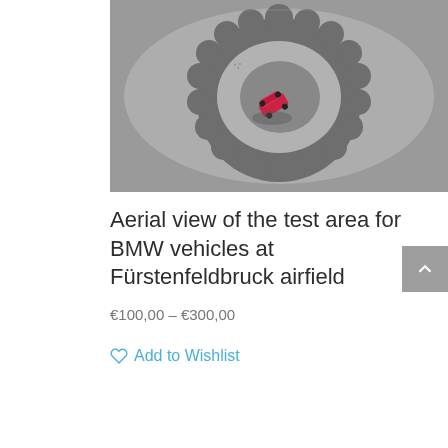[Figure (photo): Aerial view from above of a circular test track area at Fürstenfeldbruck airfield, with a red BMW car visible on the grey/dark surface. The track has a gear-like or scalloped circular outline.]
Aerial view of the test area for BMW vehicles at Fürstenfeldbruck airfield
€100,00 – €300,00
Add to Wishlist